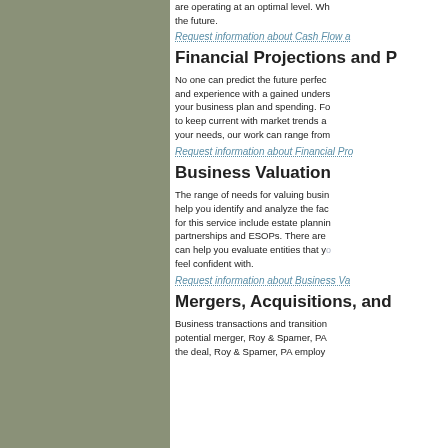are operating at an optimal level. Whether the future.
Request information about Cash Flow a...
Financial Projections and P...
No one can predict the future perfectly and experience with a gained understanding of your business plan and spending. For... to keep current with market trends and... your needs, our work can range from...
Request information about Financial Pro...
Business Valuation
The range of needs for valuing businesses... help you identify and analyze the factors... for this service include estate planning... partnerships and ESOPs. There are... can help you evaluate entities that you... feel confident with.
Request information about Business Va...
Mergers, Acquisitions, and...
Business transactions and transitions... potential merger, Roy & Spamer, PA... the deal, Roy & Spamer, PA employs...